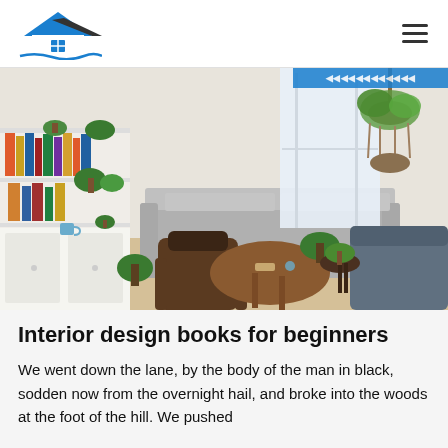[Figure (logo): House logo with blue roof and black accent, with blue wave beneath]
[Figure (photo): Interior living room with grey sofa, wooden coffee table, bookshelves with plants, and hanging plant in macrame hanger near bright window]
Interior design books for beginners
We went down the lane, by the body of the man in black, sodden now from the overnight hail, and broke into the woods at the foot of the hill. We pushed